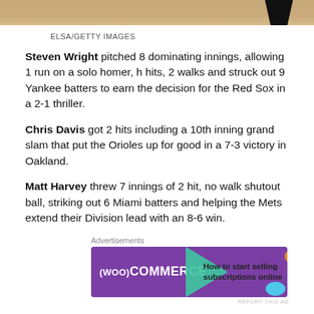[Figure (photo): Partial photo of baseball field/player at top of page, cropped]
ELSA/GETTY IMAGES
Steven Wright pitched 8 dominating innings, allowing 1 run on a solo homer, h hits, 2 walks and struck out 9 Yankee batters to earn the decision for the Red Sox in a 2-1 thriller.
Chris Davis got 2 hits including a 10th inning grand slam that put the Orioles up for good in a 7-3 victory in Oakland.
Matt Harvey threw 7 innings of 2 hit, no walk shutout ball, striking out 6 Miami batters and helping the Mets extend their Division lead with an 8-6 win.
[Figure (other): WooCommerce advertisement banner: 'How to start selling subscriptions online']